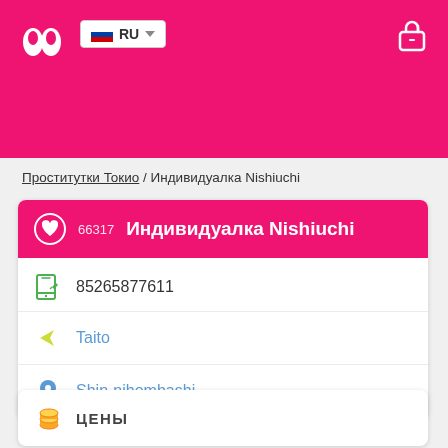RU
Проститутки Токио / Индивидуалка Nishiuchi
66317 Индивидуалка Nishiuchi
85265877611
Taito
Shin-nihombashi
ЦЕНЫ